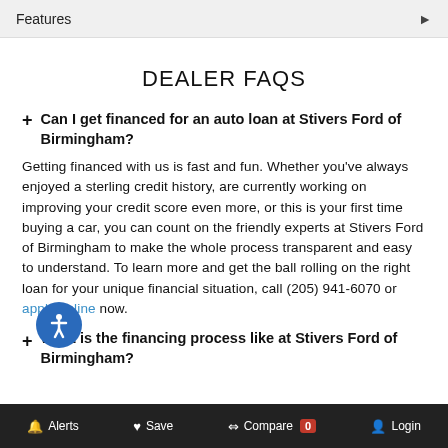Features
DEALER FAQS
+ Can I get financed for an auto loan at Stivers Ford of Birmingham?
Getting financed with us is fast and fun. Whether you've always enjoyed a sterling credit history, are currently working on improving your credit score even more, or this is your first time buying a car, you can count on the friendly experts at Stivers Ford of Birmingham to make the whole process transparent and easy to understand. To learn more and get the ball rolling on the right loan for your unique financial situation, call (205) 941-6070 or apply online now.
+ What is the financing process like at Stivers Ford of Birmingham?
Alerts  Save  Compare 0  Login